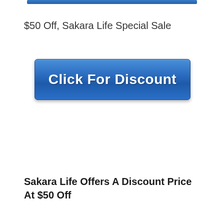[Figure (other): A blue button bar at the top of the page, partially cropped]
$50 Off, Sakara Life Special Sale
[Figure (other): A large blue 'Click For Discount' button with white bold text]
Sakara Life Offers A Discount Price At $50 Off